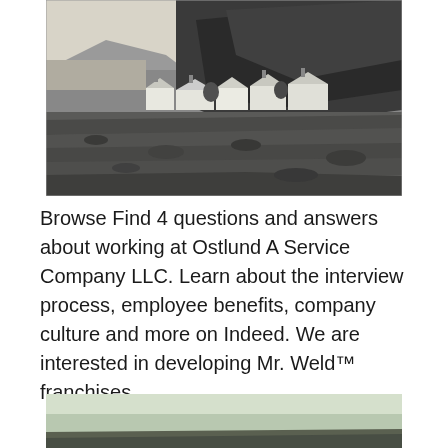[Figure (photo): Black and white landscape photograph showing white cottages at the base of a large rocky cliff/headland, with a pebbly foreshore in the foreground and a body of water visible to the left.]
Browse Find 4 questions and answers about working at Ostlund A Service Company LLC. Learn about the interview process, employee benefits, company culture and more on Indeed. We are interested in developing Mr. Weld™ franchises.
[Figure (photo): Partial view of another landscape photograph showing a misty or overcast scene with green tones, cropped at the bottom of the page.]